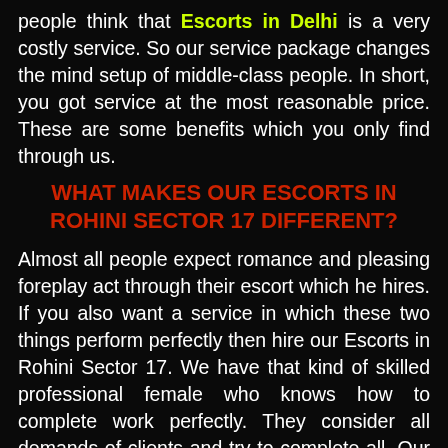people think that Escorts in Delhi is a very costly service. So our service package changes the mind setup of middle-class people. In short, you got service at the most reasonable price. These are some benefits which you only find through us.
WHAT MAKES OUR ESCORTS IN ROHINI SECTOR 17 DIFFERENT?
Almost all people expect romance and pleasing foreplay act through their escort which he hires. If you also want a service in which these two things perform perfectly then hire our Escorts in Rohini Sector 17. We have that kind of skilled professional female who knows how to complete work perfectly. They consider all demands of clients and try to complete all. Our females have full confidence in their talent that's why they take complete guaranty of giving hundred percent satisfaction and unlimited pleasure. She knows what kind of naughty fantasies men have and they also kno...